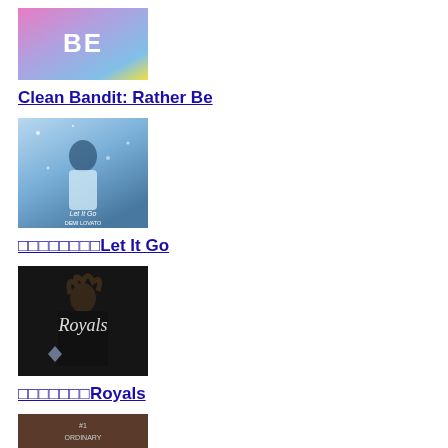[Figure (photo): Album cover for Clean Bandit Rather Be - colorful abstract with 'BE' text]
Clean Bandit: Rather Be
[Figure (photo): Album cover for Demi Lovato Let It Go - blue sparkly with female figure]
□□□□□□□□Let It Go
[Figure (photo): Album cover for Lorde Royals - dark background with cursive Royals text and female figure]
□□□□□□□Royals
[Figure (photo): Partially visible album cover at bottom]